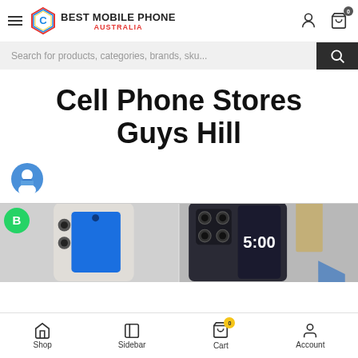BEST MOBILE PHONE AUSTRALIA — navigation header with hamburger menu, logo, user icon, cart icon (0)
Search for products, categories, brands, sku...
Cell Phone Stores Guys Hill
[Figure (illustration): Blue circular avatar icon of a person/user in business attire]
[Figure (photo): Product image of a smartphone showing dual cameras and a blue screen, with a WhatsApp Business badge overlay]
[Figure (photo): Product image of a foldable phone showing camera array and external display reading 5:00]
Shop | Sidebar | Cart (0) | Account — bottom navigation bar